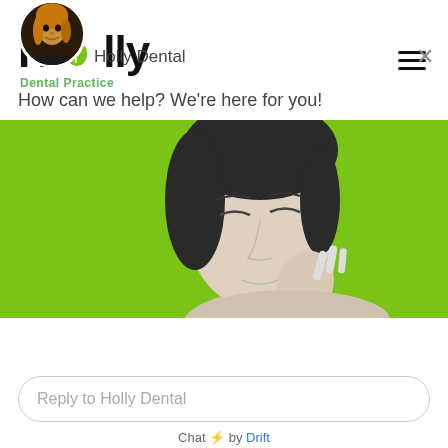[Figure (logo): Holly Dental Practice logo with green leaf in the O and green subtitle text]
[Figure (photo): Black and white photo of a woman with eyes closed touching her face/chin, on bright green background]
Holly Dental
How can we help? We're here for you!
Reply to Holly Dental
Chat ⚡ by Drift